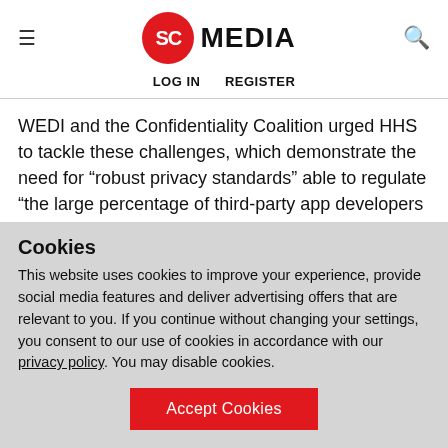SC MEDIA | LOG IN  REGISTER
WEDI and the Confidentiality Coalition urged HHS to tackle these challenges, which demonstrate the need for “robust privacy standards” able to regulate “the large percentage of third-party app developers not associated with covered entities and, therefore, not covered under HIPAA.”
Without a federally recognized certification or accreditation
Cookies
This website uses cookies to improve your experience, provide social media features and deliver advertising offers that are relevant to you. If you continue without changing your settings, you consent to our use of cookies in accordance with our privacy policy. You may disable cookies.